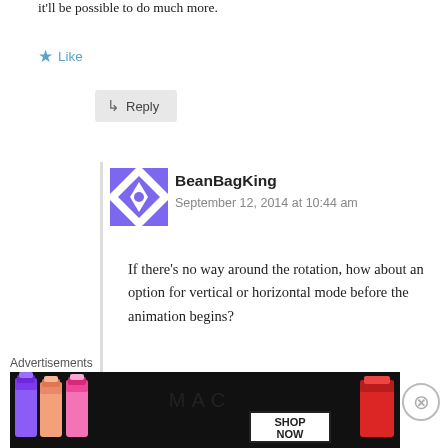it'll be possible to do much more.
Like
Reply
BeanBagKing
September 12, 2014 at 10:44 am
If there’s no way around the rotation, how about an option for vertical or horizontal mode before the animation begins?
Like
Advertisements
[Figure (photo): MAC cosmetics advertisement showing lipsticks with SHOP NOW button]